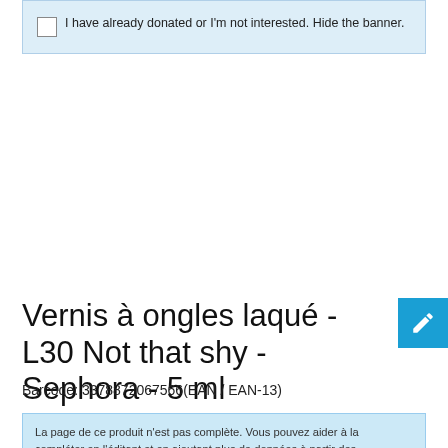I have already donated or I'm not interested. Hide the banner.
Vernis à ongles laqué - L30 Not that shy - Sephora - 5 ml
Barcode: 3378872067566(EAN / EAN-13)
La page de ce produit n'est pas complète. Vous pouvez aider à la compléter en l'éditant et en ajoutant plus de données à partir des photos que nous avons, ou en prenant plus de photos à l'aide de l'application pour Android ou iPhone / iPad. Merci!
Product characteristics